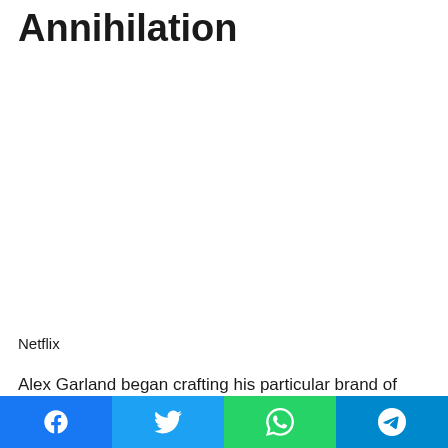Annihilation
[Figure (photo): Image placeholder area for the movie Annihilation (appears blank/white in this crop)]
Netflix
Alex Garland began crafting his particular brand of trippy, existential sci-fi with Ex Machina and continues that train with